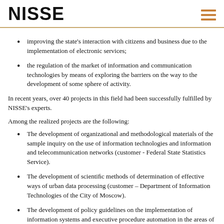NISSE
improving the state's interaction with citizens and business due to the implementation of electronic services;
the regulation of the market of information and communication technologies by means of exploring the barriers on the way to the development of some sphere of activity.
In recent years, over 40 projects in this field had been successfully fulfilled by NISSE's experts.
Among the realized projects are the following:
The development of organizational and methodological materials of the sample inquiry on the use of information technologies and information and telecommunication networks (customer - Federal State Statistics Service).
The development of scientific methods of determination of effective ways of urban data processing (customer – Department of Information Technologies of the City of Moscow).
The development of policy guidelines on the implementation of information systems and executive procedure automation in the areas of housing and communal services, urban amenities